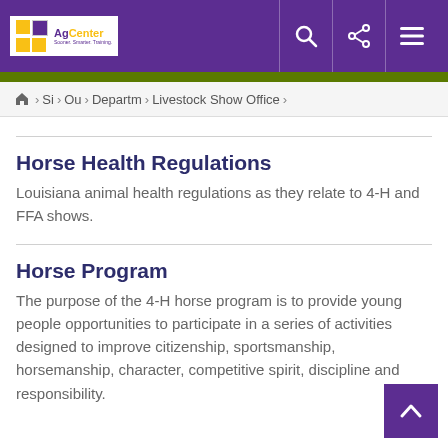LSU AgCenter — Navigation bar with logo, search, share, and menu icons
Home > Si > Ou > Departm > Livestock Show Office
Horse Health Regulations
Louisiana animal health regulations as they relate to 4-H and FFA shows.
Horse Program
The purpose of the 4-H horse program is to provide young people opportunities to participate in a series of activities designed to improve citizenship, sportsmanship, horsemanship, character, competitive spirit, discipline and responsibility.